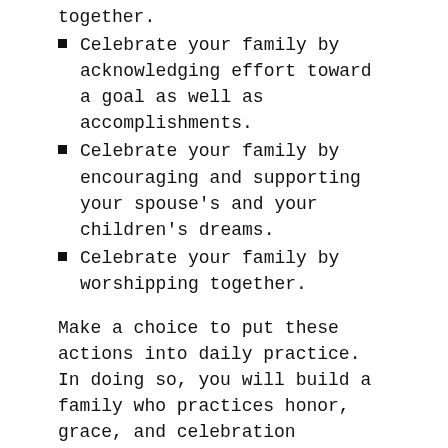together.
Celebrate your family by acknowledging effort toward a goal as well as accomplishments.
Celebrate your family by encouraging and supporting your spouse's and your children's dreams.
Celebrate your family by worshipping together.
Make a choice to put these actions into daily practice. In doing so, you will build a family who practices honor, grace, and celebration habitually. Honor, grace, and celebration will form the foundation of character in your family and shape your family's destiny.  Who knows, if enough families make the choice to make honor, grace, and celebration the habit of their family, we might